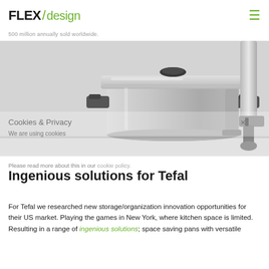FLEX / design
500 million annually sold worldwide.
[Figure (photo): Stainless steel cooking pot with dark silicone handles and lid, alongside a stainless steel immersion blender, on a white shelf surface.]
Cookies & Privacy
We are using cookies
Please read more about this in our cookie policy.
Ingenious solutions for Tefal
For Tefal we researched new storage/organization innovation opportunities for their US market. Playing the games in New York, where kitchen space is limited. Resulting in a range of ingenious solutions; space saving pans with versatile